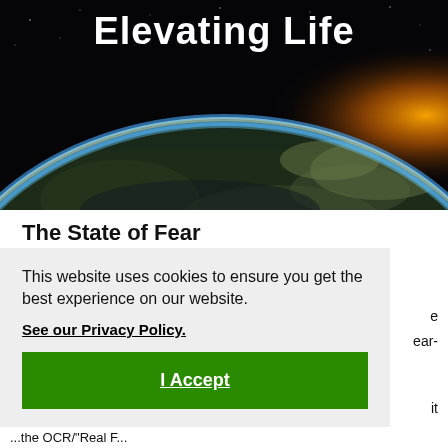[Figure (photo): Space view of Earth from orbit with blue atmospheric glow and sunlight on the horizon against a dark background]
Elevating Life
The State of Fear
This website uses cookies to ensure you get the best experience on our website.
See our Privacy Policy.
I Accept